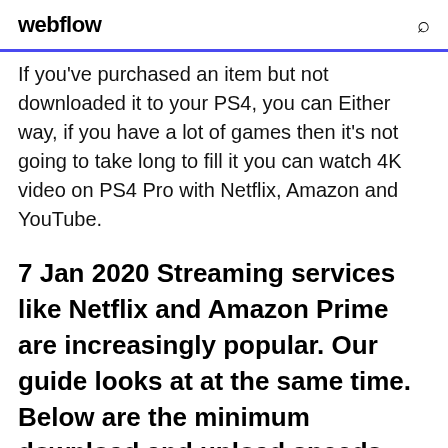webflow
If you've purchased an item but not downloaded it to your PS4, you can Either way, if you have a lot of games then it's not going to take long to fill it you can watch 4K video on PS4 Pro with Netflix, Amazon and YouTube.
7 Jan 2020 Streaming services like Netflix and Amazon Prime are increasingly popular. Our guide looks at at the same time. Below are the minimum download and upload speeds